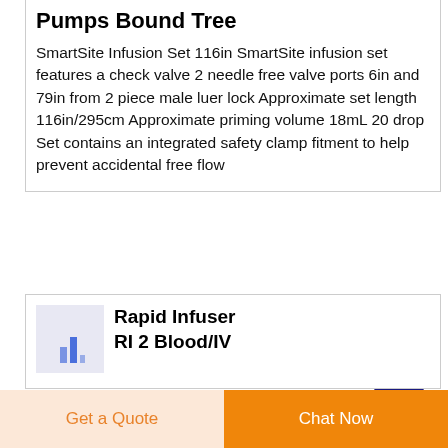Pumps Bound Tree
SmartSite Infusion Set 116in SmartSite infusion set features a check valve 2 needle free valve ports 6in and 79in from 2 piece male luer lock Approximate set length 116in/295cm Approximate priming volume 18mL 20 drop Set contains an integrated safety clamp fitment to help prevent accidental free flow
[Figure (other): Dark blue circle with white upward arrow button (scroll to top button)]
[Figure (other): Product thumbnail image with blue bar chart icon on light purple background]
Rapid Infuser RI 2 Blood/IV
Get a Quote    Chat Now